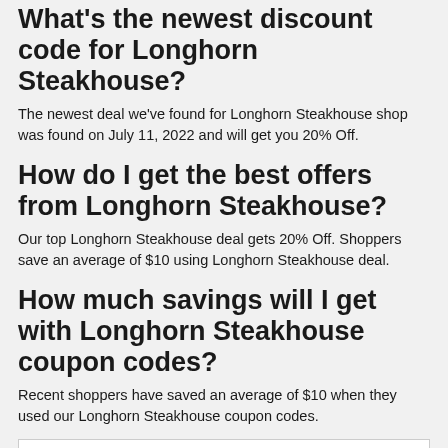What's the newest discount code for Longhorn Steakhouse?
The newest deal we've found for Longhorn Steakhouse shop was found on July 11, 2022 and will get you 20% Off.
How do I get the best offers from Longhorn Steakhouse?
Our top Longhorn Steakhouse deal gets 20% Off. Shoppers save an average of $10 using Longhorn Steakhouse deal.
How much savings will I get with Longhorn Steakhouse coupon codes?
Recent shoppers have saved an average of $10 when they used our Longhorn Steakhouse coupon codes.
[Figure (logo): Longhorn Steakhouse logo on dark background with flame graphic]